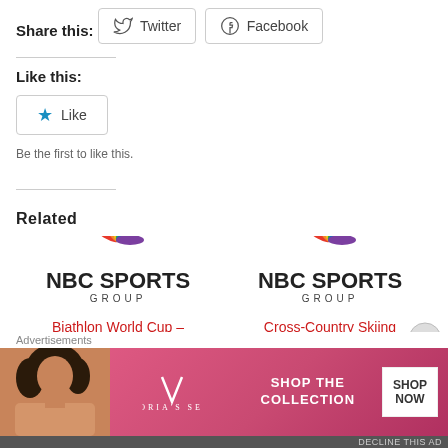Share this:
Twitter
Facebook
Like this:
Like
Be the first to like this.
Related
[Figure (logo): NBC Sports Group logo (peacock feathers, left)]
Biathlon World Cup – Oslo, Norway
March 30, 2019
[Figure (logo): NBC Sports Group logo (peacock feathers, right)]
Cross-Country Skiing World Cup – Quebec City Schedule
[Figure (infographic): Victoria's Secret advertisement banner: pink background, model on left, VS logo, 'SHOP THE COLLECTION', 'SHOP NOW' button]
Advertisements